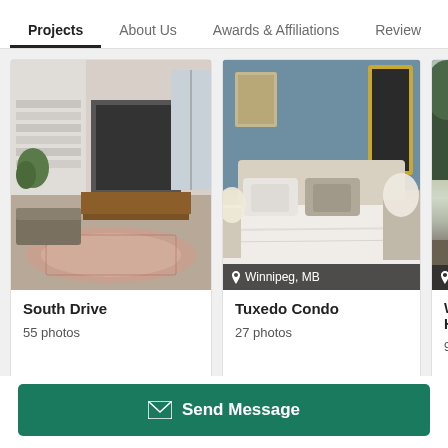Projects | About Us | Awards & Affiliations | Reviews
[Figure (photo): Interior photo of a modern living room with fireplace, wooden TV console, patterned rug, and staircase. Card labeled 'South Drive', 55 photos.]
[Figure (photo): Interior photo of a bedroom with blue-gray accent wall, white bedding, gray pillows, and gold-framed mirror. Location tag: Winnipeg, MB. Card labeled 'Tuxedo Condo', 27 photos.]
[Figure (photo): Partially visible exterior photo of a house. Location tag partially visible. Card labeled 'Win... Ho...', 9 ph...]
Your journey to better living starts with Alair Homes. Your
Send Message